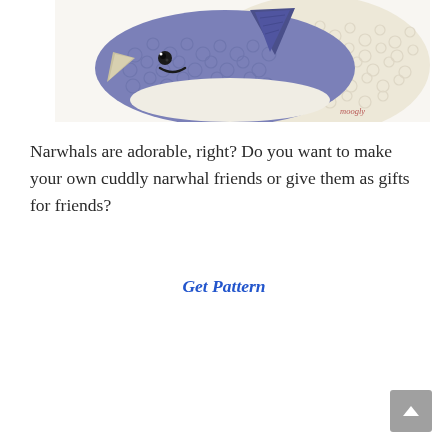[Figure (photo): Crochet stuffed narwhal toy in blue/purple yarn with a cream/white textured body, smiling face with black button eyes, photographed on white background. Watermark 'moogly' in bottom right.]
Narwhals are adorable, right? Do you want to make your own cuddly narwhal friends or give them as gifts for friends?
Get Pattern